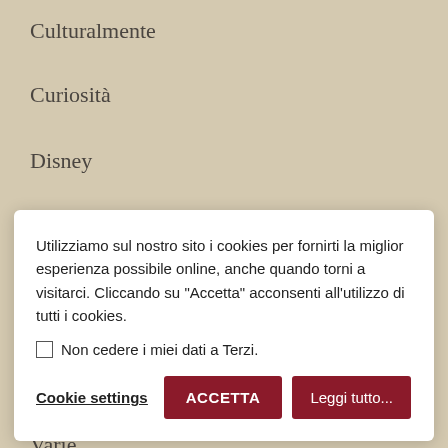Culturalmente
Curiosità
Disney
Editoriale
Utilizziamo sul nostro sito i cookies per fornirti la miglior esperienza possibile online, anche quando torni a visitarci. Cliccando su "Accetta" acconsenti all'utilizzo di tutti i cookies.
☐ Non cedere i miei dati a Terzi.
Cookie settings  ACCETTA  Leggi tutto...
Recensione
Segnalazione
SELF
Varie